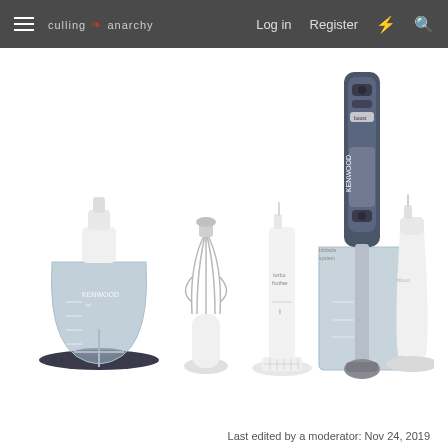culling anarchy | Log in | Register
[Figure (photo): Kenwood hand blender set with multiple attachments: food chopper bowl, whisk attachment, turbo frother, blending wand with jug, and a stand — all in white and stainless steel]
Last edited by a moderator: Nov 24, 2019